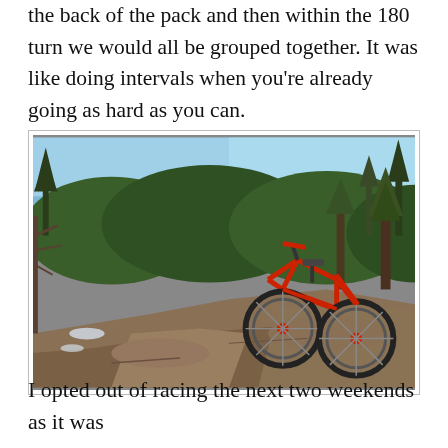the back of the pack and then within the 180 turn we would all be grouped together. It was like doing intervals when you're already going as hard as you can.
[Figure (photo): A red mountain bike leaning on a rocky hillside with pine trees and a valley in the background under a blue sky.]
I opted out of racing the next two weekends as it was